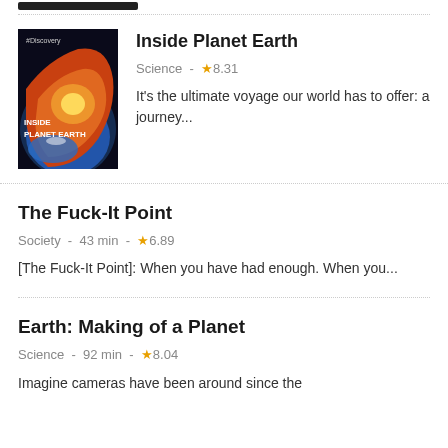[Figure (other): Top stub bar partially visible at top of page]
Inside Planet Earth
Science - ★8.31
It's the ultimate voyage our world has to offer: a journey...
[Figure (photo): Cover image of Inside Planet Earth documentary showing a cross-section of Earth with fiery interior and Discovery Channel branding]
The Fuck-It Point
Society - 43 min - ★6.89
[The Fuck-It Point]: When you have had enough. When you...
Earth: Making of a Planet
Science - 92 min - ★8.04
Imagine cameras have been around since the